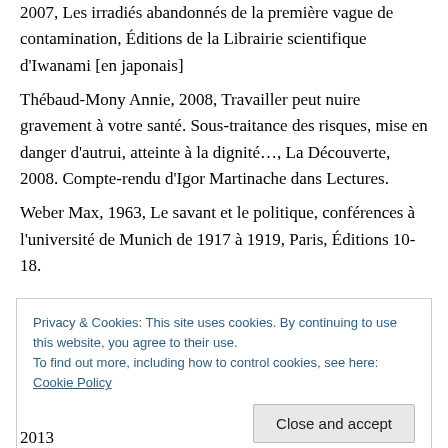2007, Les irradiés abandonnés de la première vague de contamination, Éditions de la Librairie scientifique d'Iwanami [en japonais]
Thébaud-Mony Annie, 2008, Travailler peut nuire gravement à votre santé. Sous-traitance des risques, mise en danger d'autrui, atteinte à la dignité…, La Découverte, 2008. Compte-rendu d'Igor Martinache dans Lectures.
Weber Max, 1963, Le savant et le politique, conférences à l'université de Munich de 1917 à 1919, Paris, Éditions 10-18.
Privacy & Cookies: This site uses cookies. By continuing to use this website, you agree to their use.
To find out more, including how to control cookies, see here: Cookie Policy
Close and accept
2013